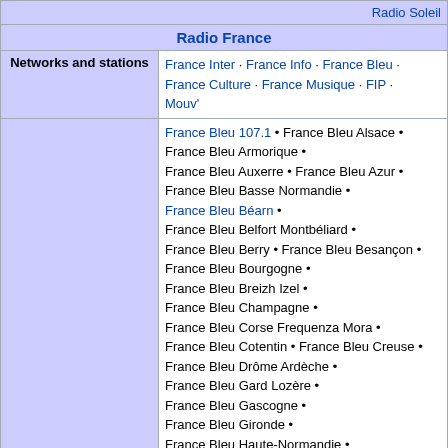|  | Radio France |
| --- | --- |
| Networks and stations | France Inter · France Info · France Bleu · France Culture · France Musique · FIP · Mouv' |
| Local networks | France Bleu 107.1 • France Bleu Alsace • France Bleu Armorique • France Bleu Auxerre • France Bleu Azur • France Bleu Basse Normandie • France Bleu Béarn • France Bleu Belfort Montbéliard • France Bleu Berry • France Bleu Besançon • France Bleu Bourgogne • France Bleu Breizh Izel • France Bleu Champagne • France Bleu Corse Frequenza Mora • France Bleu Cotentin • France Bleu Creuse • France Bleu Drôme Ardèche • France Bleu Gard Lozère • France Bleu Gascogne • France Bleu Gironde • France Bleu Haute-Normandie • France Bleu Hérault • France Bleu Isère • |